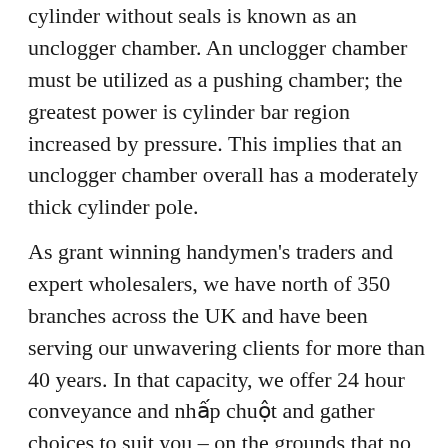cylinder without seals is known as an unclogger chamber. An unclogger chamber must be utilized as a pushing chamber; the greatest power is cylinder bar region increased by pressure. This implies that an unclogger chamber overall has a moderately thick cylinder pole.
As grant winning handymen's traders and expert wholesalers, we have north of 350 branches across the UK and have been serving our unwavering clients for more than 40 years. In that capacity, we offer 24 hour conveyance and nhấp chuột and gather choices to suit you – on the grounds that no one jumps at the chance to kept pause. For the best quality pipes supplies from trustworthy producers, track down your neighborhood